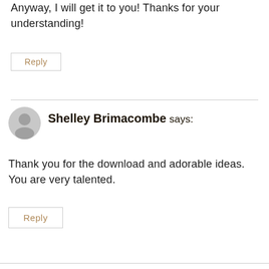Anyway, I will get it to you! Thanks for your understanding!
Reply
Shelley Brimacombe says:
Thank you for the download and adorable ideas. You are very talented.
Reply